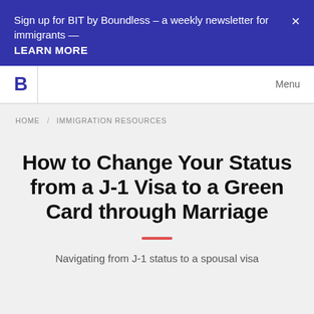Sign up for BIT by Boundless – a weekly newsletter for immigrants — LEARN MORE
B  Menu
HOME / IMMIGRATION RESOURCES
How to Change Your Status from a J-1 Visa to a Green Card through Marriage
Navigating from J-1 status to a spousal visa